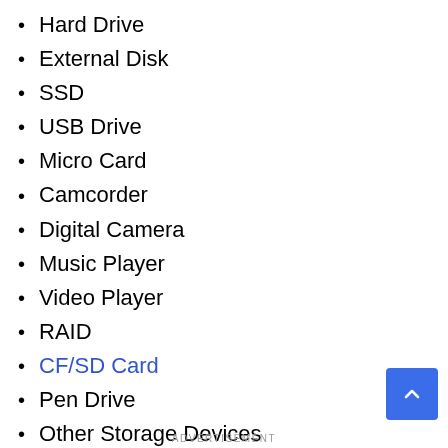Hard Drive
External Disk
SSD
USB Drive
Micro Card
Camcorder
Digital Camera
Music Player
Video Player
RAID
CF/SD Card
Pen Drive
Other Storage Devices
ADVERTISEMENT